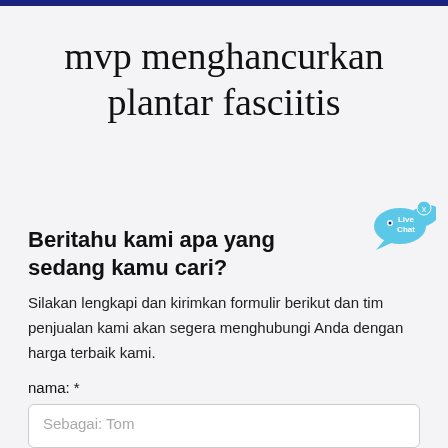mvp menghancurkan plantar fasciitis
[Figure (other): Live Chat bubble widget with fish icon and close button in top-right area]
Beritahu kami apa yang sedang kamu cari?
Silakan lengkapi dan kirimkan formulir berikut dan tim penjualan kami akan segera menghubungi Anda dengan harga terbaik kami.
nama: *
Sebagai: Tom